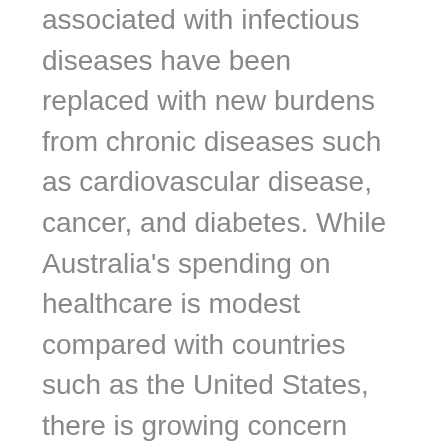associated with infectious diseases have been replaced with new burdens from chronic diseases such as cardiovascular disease, cancer, and diabetes. While Australia's spending on healthcare is modest compared with countries such as the United States, there is growing concern about the affordability of the country's health budget.
Australia's Productivity Commission has raised inconsistent evaluation of healthcare as a major problem